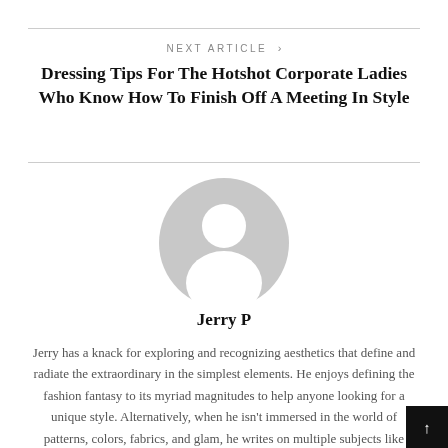NEXT ARTICLE >
Dressing Tips For The Hotshot Corporate Ladies Who Know How To Finish Off A Meeting In Style
[Figure (illustration): Generic grey avatar/profile placeholder icon showing a silhouette of a person with circular head and body shape]
Jerry P
Jerry has a knack for exploring and recognizing aesthetics that define and radiate the extraordinary in the simplest elements. He enjoys defining the fashion fantasy to its myriad magnitudes to help anyone looking for a unique style. Alternatively, when he isn't immersed in the world of patterns, colors, fabrics, and glam, he writes on multiple subjects like gaming, digital solutions, and cooking.